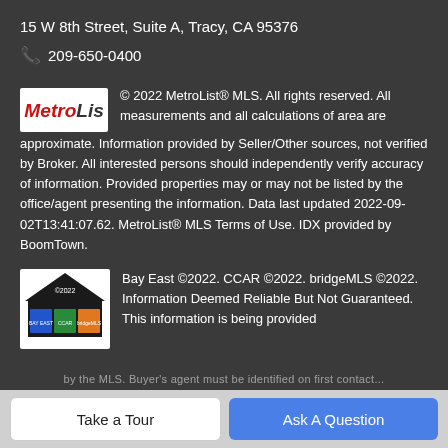15 W 8th Street, Suite A, Tracy, CA 95376
📞 209-650-0400
© 2022 MetroList® MLS. All rights reserved. All measurements and all calculations of area are approximate. Information provided by Seller/Other sources, not verified by Broker. All interested persons should independently verify accuracy of information. Provided properties may or may not be listed by the office/agent presenting the information. Data last updated 2022-09-02T13:41:07.62. MetroList® MLS Terms of Use. IDX provided by BoomTown.
Bay East ©2022. CCAR ©2022. bridgeMLS ©2022. Information Deemed Reliable But Not Guaranteed. This information is being provided
Take a Tour
Ask A Question